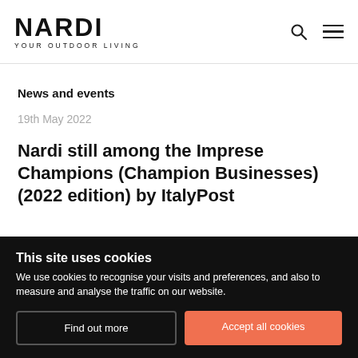NARDI YOUR OUTDOOR LIVING
News and events
19th May 2022
Nardi still among the Imprese Champions (Champion Businesses) (2022 edition) by ItalyPost
This site uses cookies
We use cookies to recognise your visits and preferences, and also to measure and analyse the traffic on our website.
Find out more | Accept all cookies